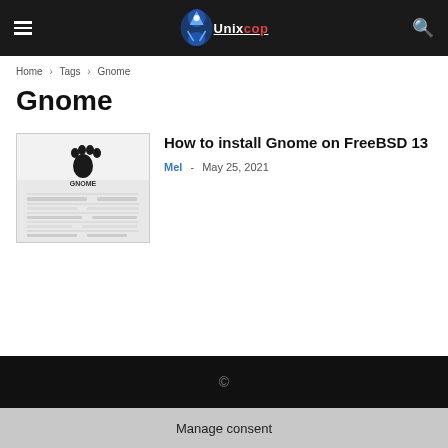Unixcop — site header with navigation
Home › Tags › Gnome
Gnome
[Figure (screenshot): Screenshot thumbnail of a GNOME system information page with GNOME logo (black claw/paw print) and a table of system details]
How to install Gnome on FreeBSD 13
Mel · May 25, 2021
©
Manage consent